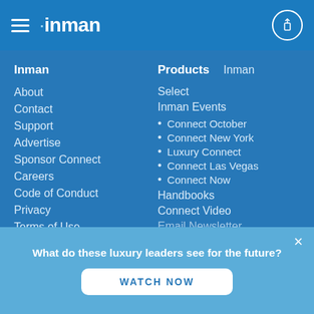inman
Inman
About
Contact
Support
Advertise
Sponsor Connect
Careers
Code of Conduct
Privacy
Terms of Use
Products
Select
Inman Events
Connect October
Connect New York
Luxury Connect
Connect Las Vegas
Connect Now
Handbooks
Connect Video
What do these luxury leaders see for the future?
WATCH NOW